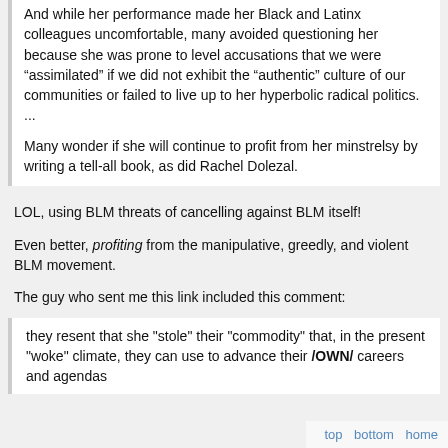And while her performance made her Black and Latinx colleagues uncomfortable, many avoided questioning her because she was prone to level accusations that we were “assimilated” if we did not exhibit the “authentic” culture of our communities or failed to live up to her hyperbolic radical politics. ...

Many wonder if she will continue to profit from her minstrelsy by writing a tell-all book, as did Rachel Dolezal.
LOL, using BLM threats of cancelling against BLM itself!
Even better, profiting from the manipulative, greedly, and violent BLM movement.
The guy who sent me this link included this comment:
they resent that she "stole" their "commodity" that, in the present "woke" climate, they can use to advance their /OWN/ careers and agendas